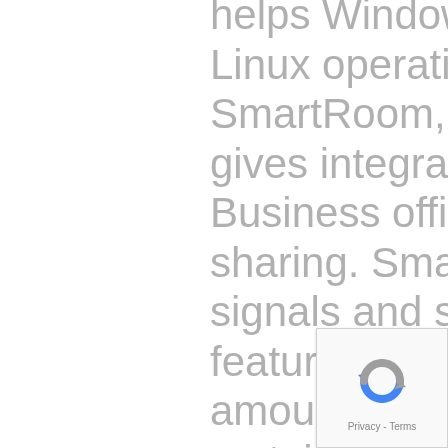helps Windows, Mac pc, and Linux operating systems. SmartRoom, for example , gives integration with Microsoft Business office and secure file sharing. SmartRoom also offers signals and squat upload features for large data amounts. Another option is certainly Onehub, that provides a drag-and-drop folder publish facility and custom marketing. Regardless of which will data space provider you select, you will have use of dozens of features that make it the optimal place to retail outlet and share your data files.
[Figure (other): reCAPTCHA widget with rotating arrows icon and Privacy - Terms text]